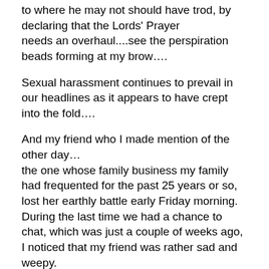to where he may not should have trod, by declaring that the Lords' Prayer
needs an overhaul....see the perspiration beads forming at my brow….
Sexual harassment continues to prevail in our headlines as it appears to have crept
into the fold….
And my friend who I made mention of the other day…
the one whose family business my family had frequented for the past 25 years or so,
lost her earthly battle early Friday morning.
During the last time we had a chance to chat, which was just a couple of weeks ago,
I noticed that my friend was rather sad and weepy.
I asked what was troubling her….and this 78 year old